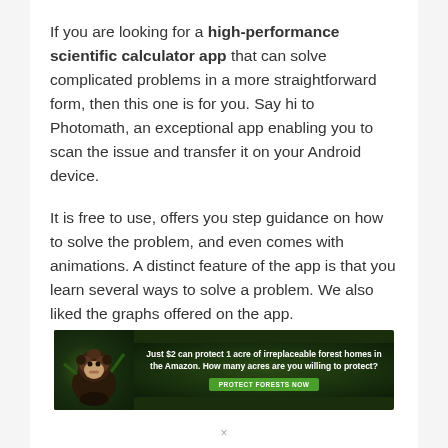If you are looking for a high-performance scientific calculator app that can solve complicated problems in a more straightforward form, then this one is for you. Say hi to Photomath, an exceptional app enabling you to scan the issue and transfer it on your Android device.
It is free to use, offers you step guidance on how to solve the problem, and even comes with animations. A distinct feature of the app is that you learn several ways to solve a problem. We also liked the graphs offered on the app.
[Figure (infographic): Advertisement banner with dark green forest background, showing an orangutan image on the left and text: 'Just $2 can protect 1 acre of irreplaceable forest homes in the Amazon. How many acres are you willing to protect?' with a green 'PROTECT FORESTS NOW' button.]
×